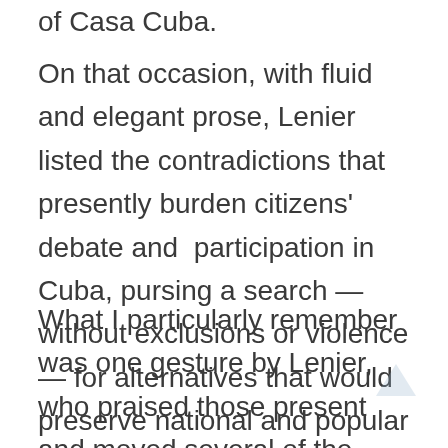of Casa Cuba.
On that occasion, with fluid and elegant prose, Lenier listed the contradictions that presently burden citizens' debate and  participation in Cuba, pursing a search — without exclusions or violence — for alternatives that would preserve national and popular sovereignty in the face of authoritarian and mercantile threats that are posed.
What I particularly remember was one gesture by Lenier, who praised those present and moved several of the people present at the forum. In his presentation